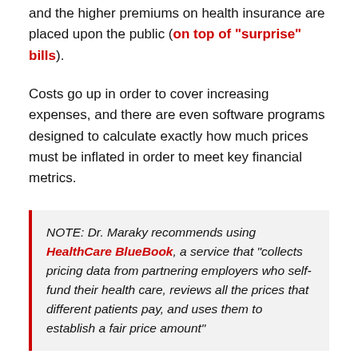and the higher premiums on health insurance are placed upon the public (on top of "surprise" bills).
Costs go up in order to cover increasing expenses, and there are even software programs designed to calculate exactly how much prices must be inflated in order to meet key financial metrics.
NOTE: Dr. Maraky recommends using HealthCare BlueBook, a service that "collects pricing data from partnering employers who self-fund their health care, reviews all the prices that different patients pay, and uses them to establish a fair price amount"